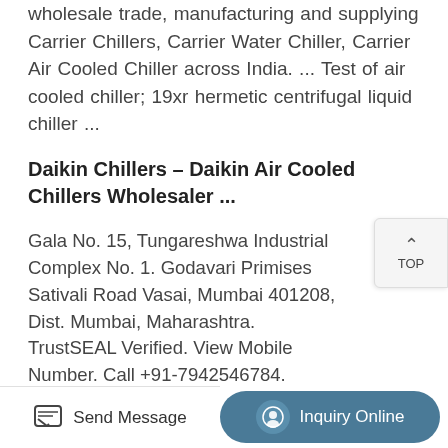wholesale trade, manufacturing and supplying Carrier Chillers, Carrier Water Chiller, Carrier Air Cooled Chiller across India. ... Test of air cooled chiller; 19xr hermetic centrifugal liquid chiller ...
Daikin Chillers - Daikin Air Cooled Chillers Wholesaler ...
Gala No. 15, Tungareshwa Industrial Complex No. 1. Godavari Primises Sativali Road Vasai, Mumbai 401208, Dist. Mumbai, Maharashtra. TrustSEAL Verified. View Mobile Number. Call +91-7942546784. Contact Supplier Request a quote. Daikin 1701c Water Cooled Screw Chiller, Cooling Capacity: 170tr. Get Quote.
Glycol Power Pack Draft Beer Chiller
Send Message
Inquiry Online